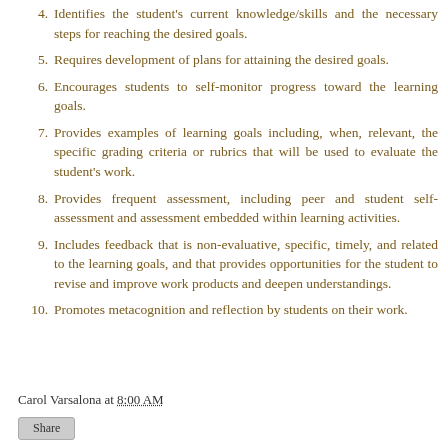4. Identifies the student's current knowledge/skills and the necessary steps for reaching the desired goals.
5. Requires development of plans for attaining the desired goals.
6. Encourages students to self-monitor progress toward the learning goals.
7. Provides examples of learning goals including, when, relevant, the specific grading criteria or rubrics that will be used to evaluate the student's work.
8. Provides frequent assessment, including peer and student self-assessment and assessment embedded within learning activities.
9. Includes feedback that is non-evaluative, specific, timely, and related to the learning goals, and that provides opportunities for the student to revise and improve work products and deepen understandings.
10. Promotes metacognition and reflection by students on their work.
Carol Varsalona at 8:00 AM